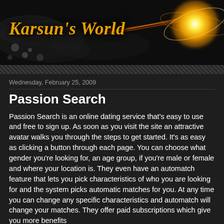Karsun's World
Wednesday, February 25, 2009
Passion Search
Passion Search is an online dating service that’s easy to use and free to sign up. As soon as you visit the site an attractive avatar walks you through the steps to get started. It’s as easy as clicking a button through each page. You can choose what gender you’re looking for, an age group, if you’re male or female and where your location is. They even have an automatch feature that lets you pick characteristics of who you are looking for and the system picks automatic matches for you. At any time you can change any specific characteristics and automatch will change your matches. They offer paid subscriptions which give you more benefits